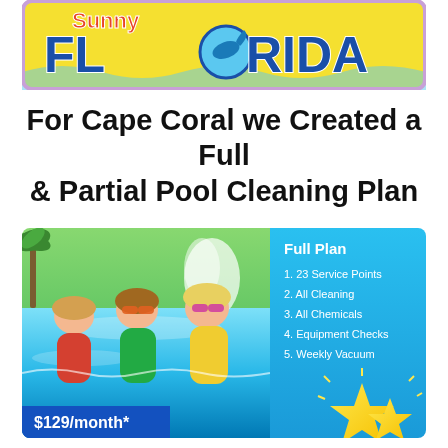[Figure (illustration): Florida tourism banner with yellow background, blue 'FLORIDA' text and dolphin graphic, purple border]
For Cape Coral we Created a Full & Partial Pool Cleaning Plan
[Figure (infographic): Pool cleaning plan card showing children swimming in a pool on the left, and on the right a blue panel listing Full Plan features: 1. 23 Service Points, 2. All Cleaning, 3. All Chemicals, 4. Equipment Checks, 5. Weekly Vacuum. Price badge shows $129/month*. Star decoration in bottom right corner.]